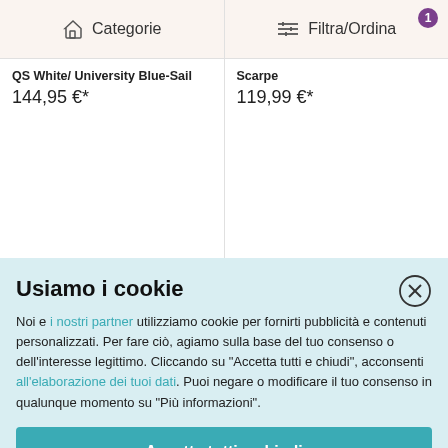[Figure (screenshot): Navigation bar with Categorie and Filtra/Ordina buttons, badge showing 1]
QS White/ University Blue-Sail
144,95 €*
Scarpe
119,99 €*
[Figure (screenshot): Two product cards with heart and info icons and partial shoe images]
Usiamo i cookie
Noi e i nostri partner utilizziamo cookie per fornirti pubblicità e contenuti personalizzati. Per fare ciò, agiamo sulla base del tuo consenso o dell'interesse legittimo. Cliccando su "Accetta tutti e chiudi", acconsenti all'elaborazione dei tuoi dati. Puoi negare o modificare il tuo consenso in qualunque momento su "Più informazioni".
Accetta tutti e chiudi
Più informazioni